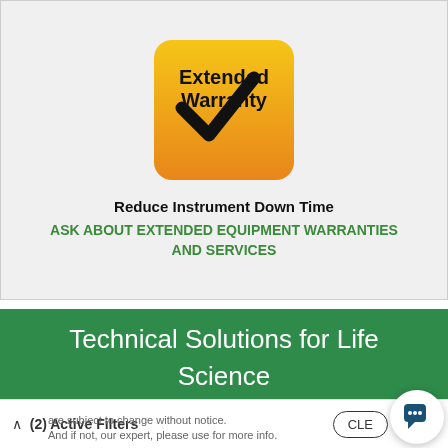[Figure (logo): Extended Warranty badge — golden/orange square with rounded corners, black checkmark, text 'Extended Warranty' in bold black]
Reduce Instrument Down Time
ASK ABOUT EXTENDED EQUIPMENT WARRANTIES AND SERVICES
Technical Solutions for Life Science Researchers
(2) Active Filters
are subject to change without notice. And if not, our expert, please use for more info.
CLEAR